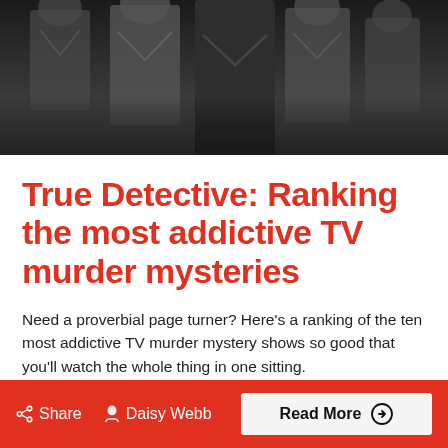[Figure (photo): Black and white hero image showing people in suits, partially visible, dark atmospheric tone]
True Detective: Ranking the most addictive TV murder mysteries
Need a proverbial page turner? Here's a ranking of the ten most addictive TV murder mystery shows so good that you'll watch the whole thing in one sitting.
Share  Daisy Webb  Read More